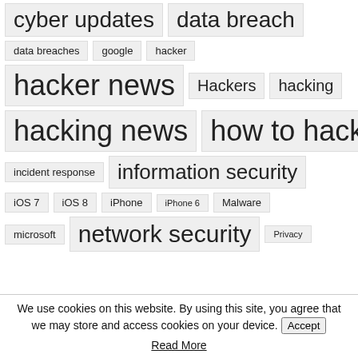cyber updates
data breach
data breaches
google
hacker
hacker news
Hackers
hacking
hacking news
how to hack
incident response
information security
iOS 7
iOS 8
iPhone
iPhone 6
Malware
microsoft
network security
Privacy
We use cookies on this website. By using this site, you agree that we may store and access cookies on your device.
Accept
Read More